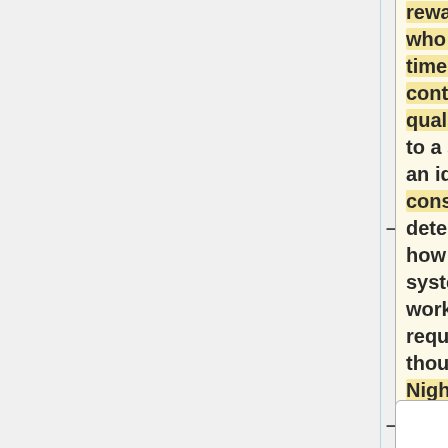reward people who take the time to contribute high quality content to a site. May be an idea worth considering but determining how such a system will work would require some thought. - Nightbrood
*What about using a "premium" model, as arstechnica does? People